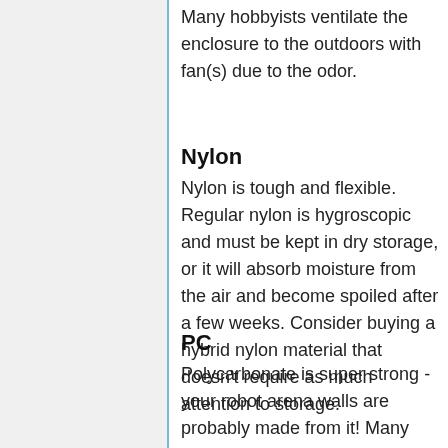Many hobbyists ventilate the enclosure to the outdoors with fan(s) due to the odor.
Nylon
Nylon is tough and flexible. Regular nylon is hygroscopic and must be kept in dry storage, or it will absorb moisture from the air and become spoiled after a few weeks. Consider buying a hybrid nylon material that doesn't require as much attention to storage.
PC
Polycarbonate is super strong - your robot arena walls are probably made from it! Many printers can't print it, though, because it must be heated to an extreme temperature (about 275°C/525°F)